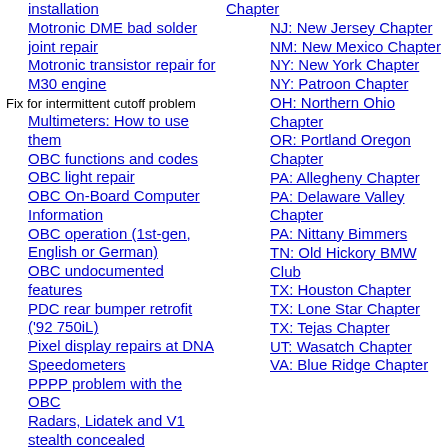installation
Motronic DME bad solder joint repair
Motronic transistor repair for M30 engine  Fix for intermittent cutoff problem
Multimeters: How to use them
OBC functions and codes
OBC light repair
OBC On-Board Computer Information
OBC operation (1st-gen, English or German)
OBC undocumented features
PDC rear bumper retrofit ('92 750iL)
Pixel display repairs at DNA Speedometers
PPPP problem with the OBC
Radars, Lidatek and V1 stealth concealed installations
Chapter
NJ: New Jersey Chapter
NM: New Mexico Chapter
NY: New York Chapter
NY: Patroon Chapter
OH: Northern Ohio Chapter
OR: Portland Oregon Chapter
PA: Allegheny Chapter
PA: Delaware Valley Chapter
PA: Nittany Bimmers
TN: Old Hickory BMW Club
TX: Houston Chapter
TX: Lone Star Chapter
TX: Tejas Chapter
UT: Wasatch Chapter
VA: Blue Ridge Chapter